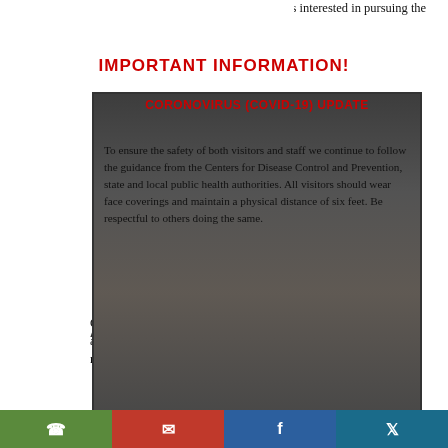with students interested in pursuing the literary arts.
[Figure (photo): White rectangular image placeholder]
IMPORTANT INFORMATION!
CORONOVIRUS (COVID-19) UPDATE
To ensure the safety of both visitors and staff we continue to follow the guidance from the Centers for Disease Control and Prevention, state and local public health authorities. All visitors should wear face coverings and maintain a physical distance of six feet. Be respectful to others doing the same.
[Figure (photo): Person in library/bookshelf background, dark overlay]
Adam Brennan
Our staff continue to adapt to changing conditions while maintaining public access. Before
[Figure (infographic): Social media bar with phone, email, Facebook, Twitter icons in green, red, blue, teal]